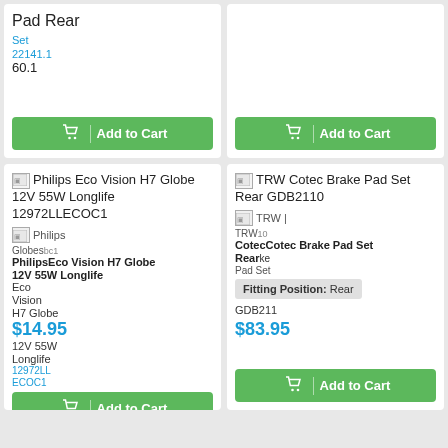Pad Rear
Set 22141.1 60.1
[Figure (screenshot): Add to Cart button (green) with cart icon]
[Figure (screenshot): Add to Cart button (green) with cart icon (right column)]
Philips Eco Vision H7 Globe 12V 55W Longlife 12972LLECOC1
Philips Globes | Philips Eco Vision H7 Globe 12V 55W Longlife Eco Vision H7 Globe 12V 55W Longlife ECOC1
$14.95
[Figure (screenshot): Add to Cart button (green) with cart icon]
TRW Cotec Brake Pad Set Rear GDB2110
TRW | TRW 10 Cotec Brake Pad Set Rear Brake Pad Set
Fitting Position: Rear
GDB211
$83.95
[Figure (screenshot): Add to Cart button (green) with cart icon]